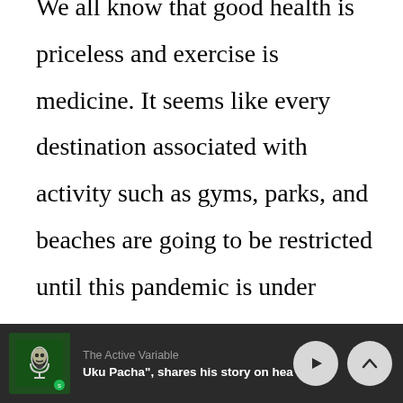We all know that good health is priceless and exercise is medicine. It seems like every destination associated with activity such as gyms, parks, and beaches are going to be restricted until this pandemic is under control; which we still don't know when that is going to be. Therefore, our living rooms, furniture, and pets in our homes have become our temporary mecca of sweat, blood, and tears. We put
[Figure (screenshot): Podcast player bar showing 'The Active Variable' podcast with episode 'Uku Pacha", shares his story on hea' with play and up chevron buttons, and a green podcast album art thumbnail with Spotify branding]